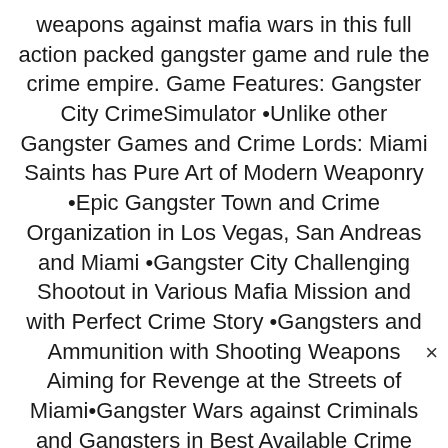weapons against mafia wars in this full action packed gangster game and rule the crime empire. Game Features: Gangster City CrimeSimulator •Unlike other Gangster Games and Crime Lords: Miami Saints has Pure Art of Modern Weaponry •Epic Gangster Town and Crime Organization in Los Vegas, San Andreas and Miami •Gangster City Challenging Shootout in Various Mafia Mission and with Perfect Crime Story •Gangsters and Ammunition with Shooting Weapons Aiming for Revenge at the Streets of Miami•Gangster Wars against Criminals and Gangsters in Best Available Crime Simulator Game •Shooting Game of Fierce